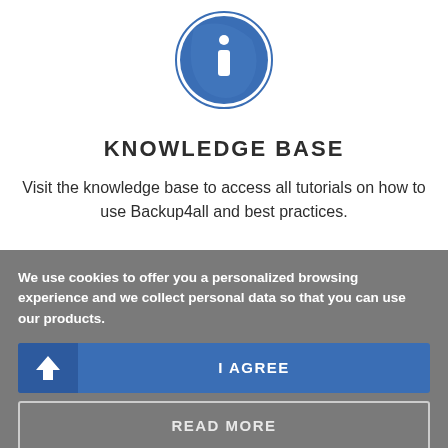[Figure (illustration): Blue circular information icon with white letter 'i' in center, with double-ring border]
KNOWLEDGE BASE
Visit the knowledge base to access all tutorials on how to use Backup4all and best practices.
We use cookies to offer you a personalized browsing experience and we collect personal data so that you can use our products.
I AGREE
READ MORE